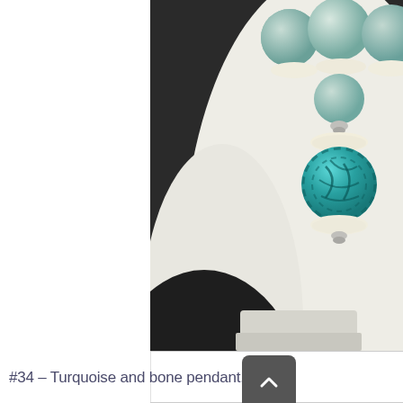[Figure (photo): A jewelry necklace displayed on a white mannequin bust. The necklace features aqua/mint-colored round beads, ivory/bone disc beads, silver connectors, and a large carved turquoise pendant bead as the focal point. The background is dark/black contrasting with the white bust form.]
#34 – Turquoise and bone pendant, w